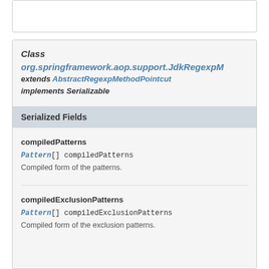Class org.springframework.aop.support.JdkRegexpMethodPointcut extends AbstractRegexpMethodPointcut implements Serializable
Serialized Fields
compiledPatterns
Pattern[] compiledPatterns
Compiled form of the patterns.
compiledExclusionPatterns
Pattern[] compiledExclusionPatterns
Compiled form of the exclusion patterns.